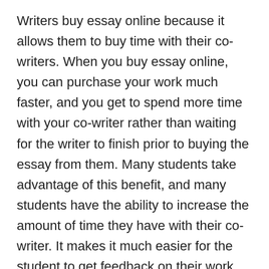Writers buy essay online because it allows them to buy time with their co-writers. When you buy essay online, you can purchase your work much faster, and you get to spend more time with your co-writer rather than waiting for the writer to finish prior to buying the essay from them. Many students take advantage of this benefit, and many students have the ability to increase the amount of time they have with their co-writer. It makes it much easier for the student to get feedback on their work from their teacher, which is essential for a student to succeed in their education. You can buy essay online and save time, money and energy.
Many companies offer essay writing services to pupils who need extra assistance with their academic work...